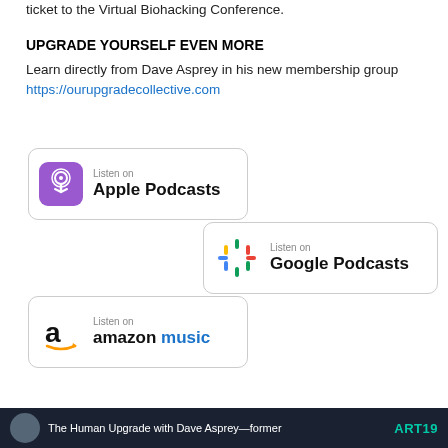ticket to the Virtual Biohacking Conference.
UPGRADE YOURSELF EVEN MORE
Learn directly from Dave Asprey in his new membership group https://ourupgradecollective.com
[Figure (logo): Listen on Apple Podcasts badge with purple podcast icon]
[Figure (logo): Listen on Google Podcasts badge with colorful Google Podcasts icon]
[Figure (logo): Listen on Amazon Music badge with Amazon logo]
The Human Upgrade with Dave Asprey—former  ART19